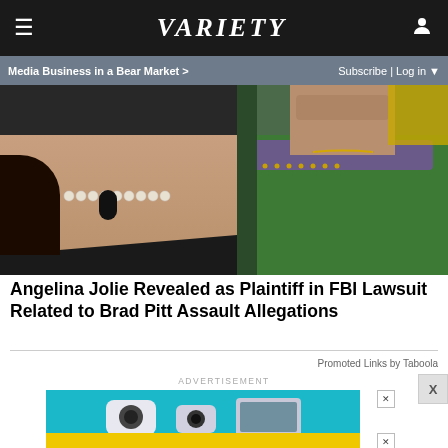VARIETY
Media Business in a Bear Market >   Subscribe | Log in
[Figure (photo): Split image showing two celebrities cropped at neck level: on the left, a woman wearing a pearl necklace against a dark background with a microphone visible; on the right, a man wearing a green blazer with a gold chain necklace.]
Angelina Jolie Revealed as Plaintiff in FBI Lawsuit Related to Brad Pitt Assault Allegations
Promoted Links by Taboola
ADVERTISEMENT
[Figure (photo): Advertisement for BOGO Blink Minis security cameras on a teal background, with yellow bar at bottom reading 'BOGO BLINK MINIS GET YOURS NOW' and SPY logo.]